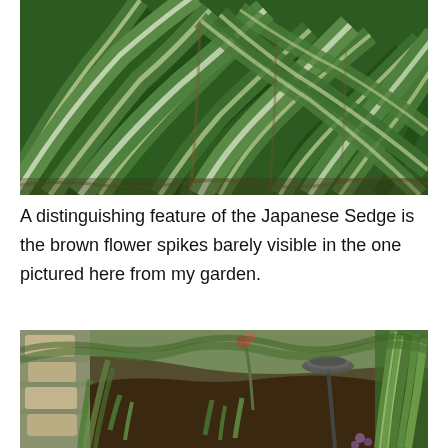[Figure (photo): Close-up photograph of Japanese Sedge grass leaves with long, arching green and white-striped blades densely overlapping, with brown flower spikes barely visible.]
A distinguishing feature of the Japanese Sedge is the brown flower spikes barely visible in the one pictured here from my garden.
[Figure (photo): Garden scene showing a stone pathway on the left, mulched garden bed in the center with various plants, rocks, and a bird bath on a pole. Dense green plants including Japanese Sedge visible on the right.]